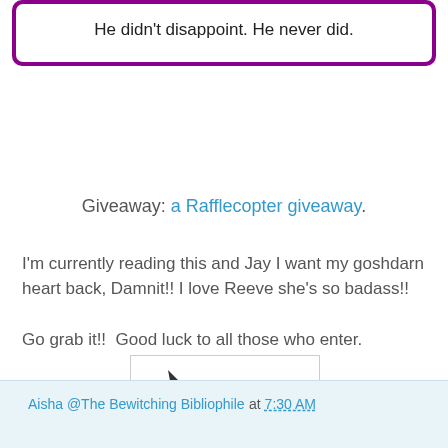He didn't disappoint. He never did.
Giveaway: a Rafflecopter giveaway.
I'm currently reading this and Jay I want my goshdarn heart back, Damnit!! I love Reeve she's so badass!!
Go grab it!!  Good luck to all those who enter.
[Figure (logo): Aisha The Bewitching Bibliophile logo with a wizard hat sitting on books]
Aisha @The Bewitching Bibliophile at 7:30 AM